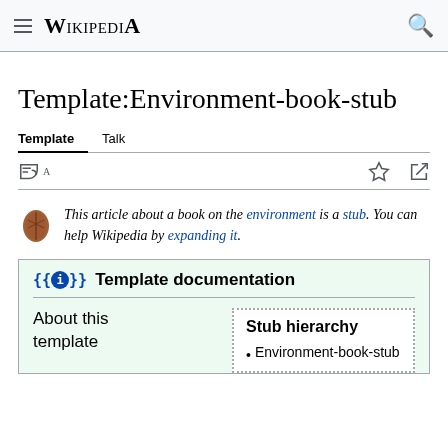Wikipedia
Template:Environment-book-stub
Template   Talk
This article about a book on the environment is a stub. You can help Wikipedia by expanding it.
{{ℹ}} Template documentation
About this template
Stub hierarchy
Environment-book-stub